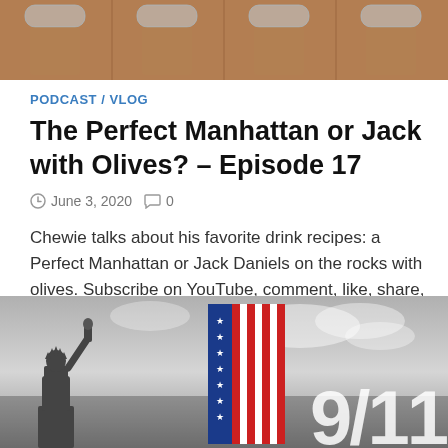[Figure (photo): Repeated photo strip of a cup/drink on a wooden surface, shown in a row of four identical segments]
PODCAST / VLOG
The Perfect Manhattan or Jack with Olives? – Episode 17
June 3, 2020  0
Chewie talks about his favorite drink recipes: a Perfect Manhattan or Jack Daniels on the rocks with olives. Subscribe on YouTube, comment, like, share, etc.
[Figure (photo): Black and white image of Statue of Liberty with American flag stripe and large '9/11' text overlay]